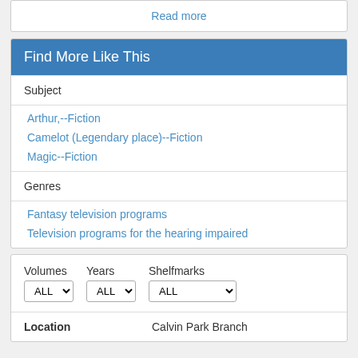Read more
Find More Like This
Subject
Arthur,--Fiction
Camelot (Legendary place)--Fiction
Magic--Fiction
Genres
Fantasy television programs
Television programs for the hearing impaired
| Volumes | Years | Shelfmarks |
| --- | --- | --- |
| ALL | ALL | ALL |
| Location |  |
| --- | --- |
| Location | Calvin Park Branch |